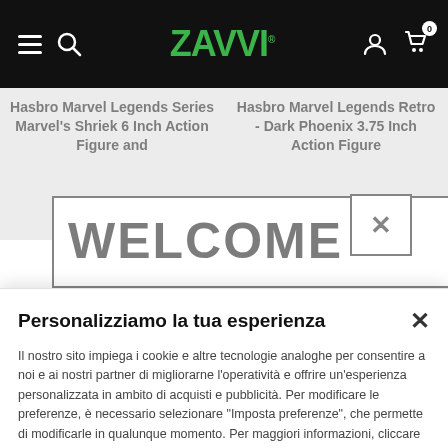[Figure (screenshot): Zavvi website navigation bar with hamburger menu, search icon, green Zavvi logo, user account icon, and shopping cart icon with 0 badge, on black background]
Hasbro Marvel Legends Series Marvel's Shriek 6 Inch Action Figure and
Hasbro Marvel Legends Retro - Dark Phoenix 3.75 Inch Action Figure
WELCOME
Personalizziamo la tua esperienza
Il nostro sito impiega i cookie e altre tecnologie analoghe per consentire a noi e ai nostri partner di migliorarne l'operatività e offrire un'esperienza personalizzata in ambito di acquisti e pubblicità. Per modificare le preferenze, è necessario selezionare "Imposta preferenze", che permette di modificarle in qualunque momento. Per maggiori informazioni, cliccare  qui.
Configura preferenze
Ok